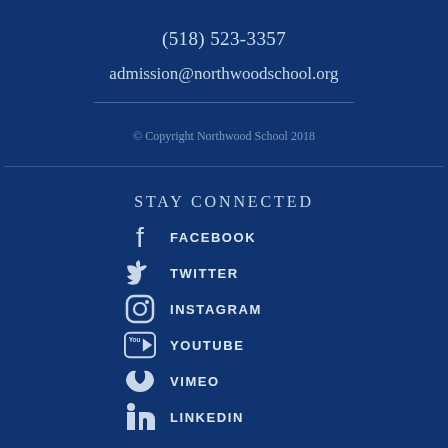(518) 523-3357
admission@northwoodschool.org
© Copyright Northwood School 2018
STAY CONNECTED
FACEBOOK
TWITTER
INSTAGRAM
YOUTUBE
VIMEO
LINKEDIN